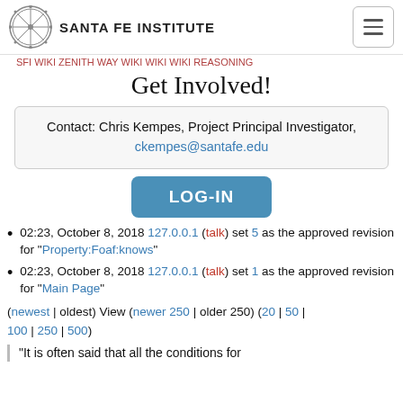SANTA FE INSTITUTE
Get Involved!
Contact: Chris Kempes, Project Principal Investigator, ckempes@santafe.edu
LOG-IN
02:23, October 8, 2018 127.0.0.1 (talk) set 5 as the approved revision for "Property:Foaf:knows"
02:23, October 8, 2018 127.0.0.1 (talk) set 1 as the approved revision for "Main Page"
(newest | oldest) View (newer 250 | older 250) (20 | 50 | 100 | 250 | 500)
"It is often said that all the conditions for